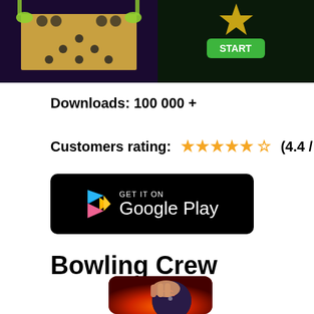[Figure (screenshot): Two screenshots of a bowling game app. Left: overhead view of a bowling alley with green robot arms. Right: dark screen with a green START button.]
Downloads: 100 000 +
Customers rating: ★★★★★ (4.4 / 5)
[Figure (logo): GET IT ON Google Play button - black rounded rectangle badge]
Bowling Crew
[Figure (photo): Bowling Crew app icon showing a hand gripping a bowling ball with fire effect]